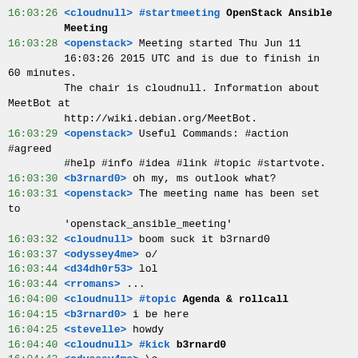16:03:26 <cloudnull> #startmeeting OpenStack Ansible Meeting
16:03:28 <openstack> Meeting started Thu Jun 11 16:03:26 2015 UTC and is due to finish in 60 minutes. The chair is cloudnull. Information about MeetBot at http://wiki.debian.org/MeetBot.
16:03:29 <openstack> Useful Commands: #action #agreed #help #info #idea #link #topic #startvote.
16:03:30 <b3rnard0> oh my, ms outlook what?
16:03:31 <openstack> The meeting name has been set to 'openstack_ansible_meeting'
16:03:32 <cloudnull> boom suck it b3rnard0
16:03:37 <odyssey4me> o/
16:03:44 <d34dh0r53> lol
16:03:44 <rromans> ...
16:04:00 <cloudnull> #topic Agenda & rollcall
16:04:15 <b3rnard0> i be here
16:04:25 <stevelle> howdy
16:04:40 <cloudnull> #kick b3rnard0
16:04:42 <odyssey4me> \o
16:04:49 <sigmavirus24> o/
16:04:52 <sigmavirus24> \o/
16:04:54 <d34dh0r53> o\
16:05:10 <Sam-I-Am> moo.
16:05:21 <palendae> o/
16:06:12 <jwagner> o/
16:07:49 <cloudnull> so lets get started
16:07:59 <cloudnull> #topic To BigTent or not to BigTent that is the question?
16:08:10 <cloudnull> as we have an etherpad going